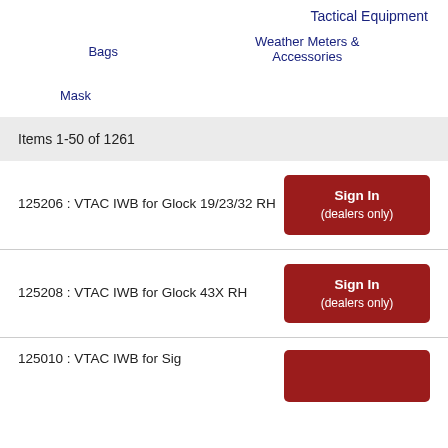Tactical Equipment
Bags
Weather Meters & Accessories
Mask
Items 1-50 of 1261
125206 : VTAC IWB for Glock 19/23/32 RH
Sign In (dealers only)
125208 : VTAC IWB for Glock 43X RH
Sign In (dealers only)
125010 : VTAC IWB for Sig